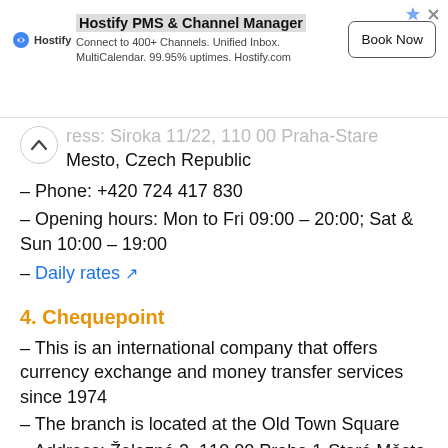[Figure (infographic): Hostify PMS & Channel Manager advertisement banner with logo, description text 'Connect to 400+ Channels. Unified Inbox. MultiCalendar. 99.95% uptimes. Hostify.com' and a 'Book Now' button.]
ress: Siroka 11/22, 110 00 Praha-Stare Mesto, Czech Republic
– Phone: +420 724 417 830
– Opening hours: Mon to Fri 09:00 – 20:00; Sat & Sun 10:00 – 19:00
– Daily rates
4. Chequepoint
– This is an international company that offers currency exchange and money transfer services since 1974
– The branch is located at the Old Town Square
– Address: Železná 2, 110 00 Praha 1-Staré Město